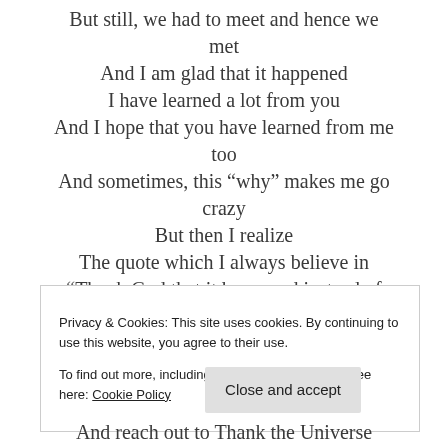But still, we had to meet and hence we met
And I am glad that it happened
I have learned a lot from you
And I hope that you have learned from me too
And sometimes, this “why” makes me go crazy
But then I realize
The quote which I always believe in
“Thank God that it happened instead of
Privacy & Cookies: This site uses cookies. By continuing to use this website, you agree to their use.
To find out more, including how to control cookies, see here: Cookie Policy
Close and accept
And reach out to Thank the Universe